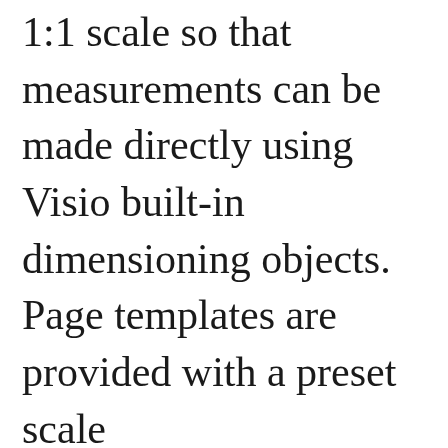1:1 scale so that measurements can be made directly using Visio built-in dimensioning objects. Page templates are provided with a preset scale